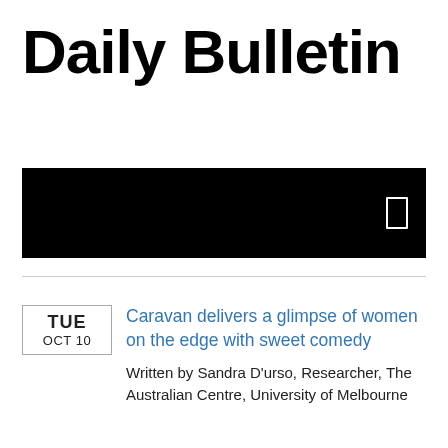Daily Bulletin
[Figure (other): Black navigation bar with a small white rectangle icon on the right side]
Caravan delivers a glimpse of women on the edge with sweet comedy
Written by Sandra D'urso, Researcher, The Australian Centre, University of Melbourne